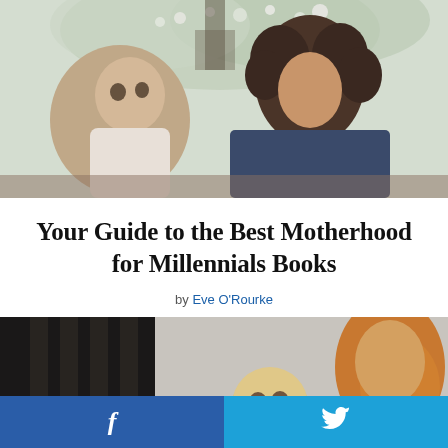[Figure (photo): A woman with dark curly hair holding a baby outdoors near blossoming trees]
Your Guide to the Best Motherhood for Millennials Books
by Eve O'Rourke
[Figure (photo): A red-haired woman and a baby with blond hair indoors near a dark crib]
f   (Twitter bird icon)